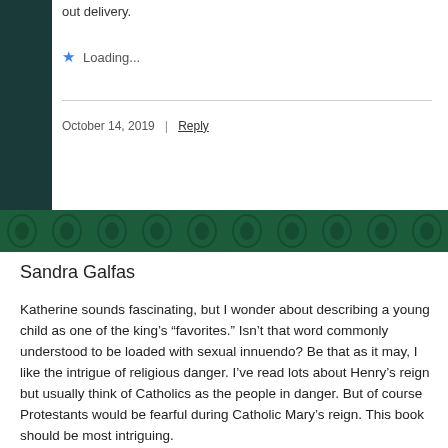out delivery.
Loading...
October 14, 2019 | Reply
[Figure (illustration): Dark green decorative banner with ornamental pattern]
Sandra Galfas
Katherine sounds fascinating, but I wonder about describing a young child as one of the king's “favorites.” Isn’t that word commonly understood to be loaded with sexual innuendo? Be that as it may, I like the intrigue of religious danger. I’ve read lots about Henry’s reign but usually think of Catholics as the people in danger. But of course Protestants would be fearful during Catholic Mary’s reign. This book should be most intriguing.